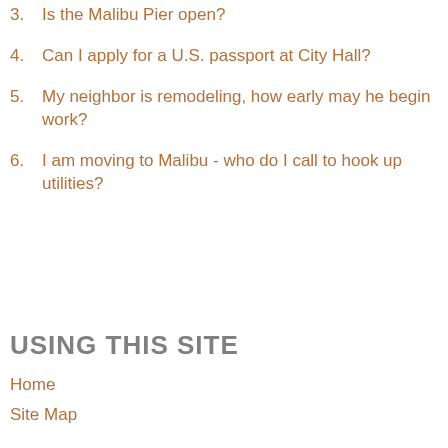3. Is the Malibu Pier open?
4. Can I apply for a U.S. passport at City Hall?
5. My neighbor is remodeling, how early may he begin work?
6. I am moving to Malibu - who do I call to hook up utilities?
USING THIS SITE
Home
Site Map